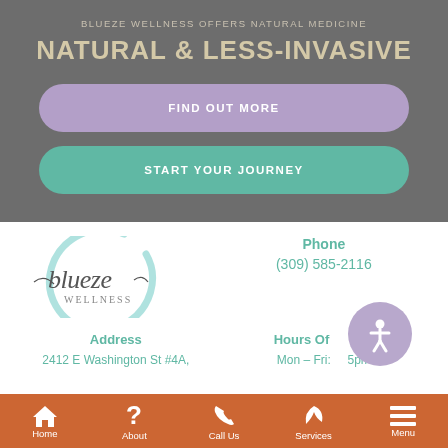BLUEZE WELLNESS OFFERS NATURAL MEDICINE
NATURAL & LESS-INVASIVE
FIND OUT MORE
START YOUR JOURNEY
[Figure (logo): Blueze Wellness logo — script text 'blueze wellness' with a teal circular brush stroke]
Phone
(309) 585-2116
Address
2412 E Washington St #4A,
Hours Of Operation
Mon – Fri: [circle] 5pm
Home   About   Call Us   Services   Menu